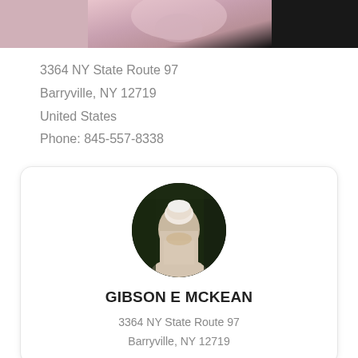[Figure (photo): Partial photo of a person, cropped at top of page]
3364 NY State Route 97
Barryville, NY 12719
United States
Phone: 845-557-8338
[Figure (photo): Circular profile photo of an elderly man with white hair, wearing a light-colored shirt, outdoors with dark foliage behind him]
GIBSON E MCKEAN
3364 NY State Route 97
Barryville, NY 12719